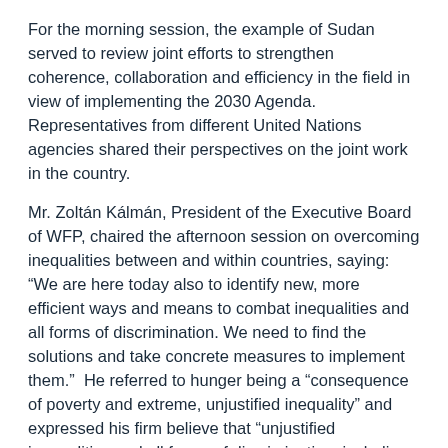For the morning session, the example of Sudan served to review joint efforts to strengthen coherence, collaboration and efficiency in the field in view of implementing the 2030 Agenda.  Representatives from different United Nations agencies shared their perspectives on the joint work in the country.
Mr. Zoltán Kálmán, President of the Executive Board of WFP, chaired the afternoon session on overcoming inequalities between and within countries, saying: “We are here today also to identify new, more efficient ways and means to combat inequalities and all forms of discrimination. We need to find the solutions and take concrete measures to implement them.”  He referred to hunger being a “consequence of poverty and extreme, unjustified inequality” and expressed his firm believe that “unjustified inequalities and all forms of discrimination, including gender inequality, can be eliminated and should be combatted jointly.”
While in New York, the President also d...